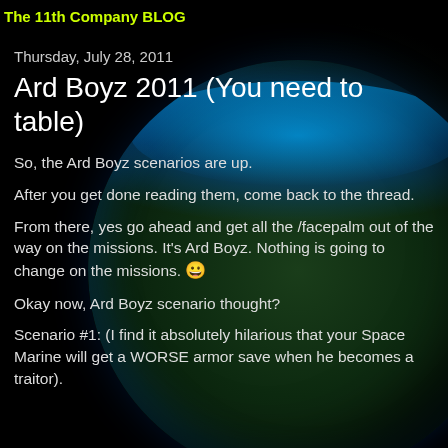The 11th Company BLOG
Thursday, July 28, 2011
Ard Boyz 2011 (You need to table)
So, the Ard Boyz scenarios are up.
After you get done reading them, come back to the thread.
From there, yes go ahead and get all the /facepalm out of the way on the missions. It's Ard Boyz. Nothing is going to change on the missions. 😀
Okay now, Ard Boyz scenario thought?
Scenario #1: (I find it absolutely hilarious that your Space Marine will get a WORSE armor save when he becomes a traitor).